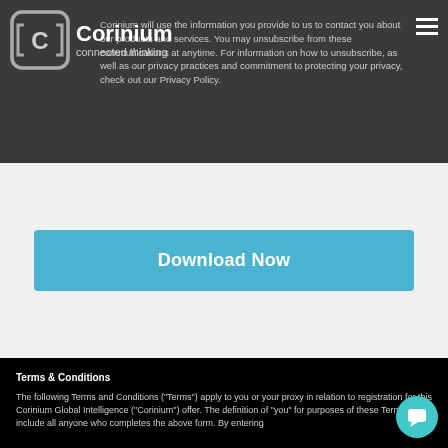[Figure (logo): Corinium logo with C icon and 'connected thinking' tagline]
Corinium will use the information you provide to us to contact you about our products and services. You may unsubscribe from these communications at anytime. For information on how to unsubscribe, as well as our privacy practices and commitment to protecting your privacy, check out our Privacy Policy.
[Figure (other): Download Now button in teal/blue color]
Terms & Conditions
The following Terms and Conditions ("Terms") apply to you or your proxy in relation to registration for this Corinium Global Intelligence ("Corinium") offer. The definition of "you" for purposes of these Terms will include all anyone who completes the above form. By entering